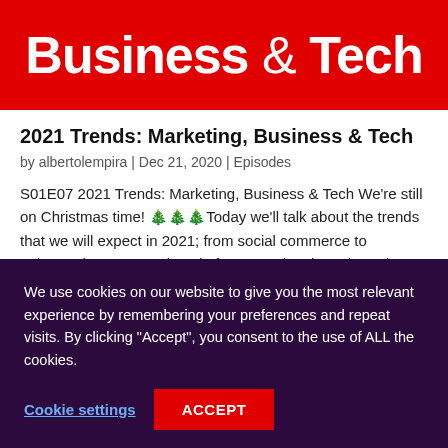Business & Tech
2021 Trends: Marketing, Business & Tech
by albertolempira | Dec 21, 2020 | Episodes
S01E07 2021 Trends: Marketing, Business & Tech We're still on Christmas time! 🎄🎄🎄Today we'll talk about the trends that we will expect in 2021; from social commerce to enhanced AR, Streaming platforms, and antitrust lawsuits. Join me on this episode of the Not...
We use cookies on our website to give you the most relevant experience by remembering your preferences and repeat visits. By clicking "Accept", you consent to the use of ALL the cookies.
Cookie settings | ACCEPT